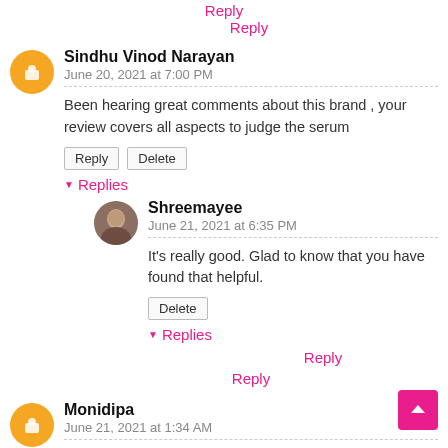Reply
Reply
Sindhu Vinod Narayan
June 20, 2021 at 7:00 PM
Been hearing great comments about this brand , your review covers all aspects to judge the serum
Reply  Delete
▾ Replies
Shreemayee
June 21, 2021 at 6:35 PM
It's really good. Glad to know that you have found that helpful.
Delete
▾ Replies
Reply
Reply
Monidipa
June 21, 2021 at 1:34 AM